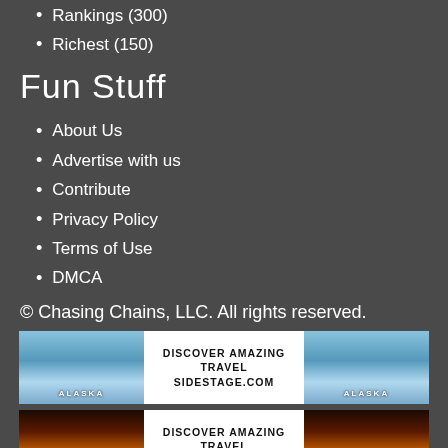Rankings (300)
Richest (150)
Fun Stuff
About Us
Advertise with us
Contribute
Privacy Policy
Terms of Use
DMCA
© Chasing Chains, LLC. All rights reserved.
[Figure (illustration): Advertisement banner for SideStage.com travel, showing Alaska glacier imagery with text DISCOVER AMAZING TRAVEL SIDESTAGE.COM]
[Figure (illustration): Advertisement banner for SideStage.com travel, showing Alaska sunset/landscape imagery with text DISCOVER AMAZING TRAVEL SIDESTAGE.COM]